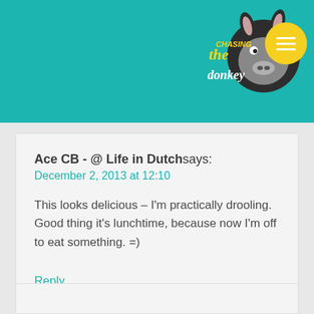Chasing the Donkey
Ace CB - @ Life in Dutch says:
December 2, 2013 at 12:10

This looks delicious – I'm practically drooling. Good thing it's lunchtime, because now I'm off to eat something. =)
Reply